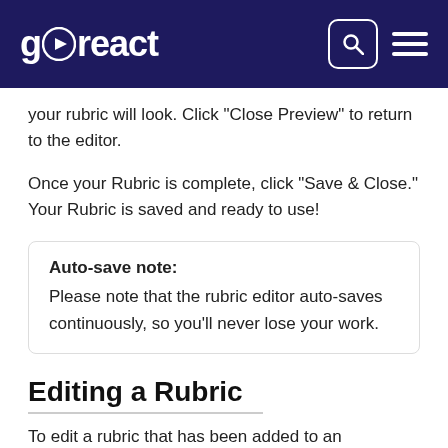goreact
your rubric will look. Click "Close Preview" to return to the editor.
Once your Rubric is complete, click "Save & Close." Your Rubric is saved and ready to use!
Auto-save note:
Please note that the rubric editor auto-saves continuously, so you'll never lose your work.
Editing a Rubric
To edit a rubric that has been added to an assignment, you cannot have graded any submissions within the assignment